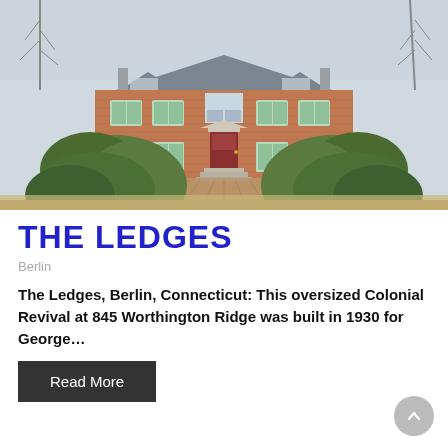[Figure (photo): Exterior photo of The Ledges, a large Colonial Revival brick house at 845 Worthington Ridge, Berlin, Connecticut. The two-story brick home has a symmetrical facade with green shutters, dormer windows, a central arched window, and a red front door approached by a brick pathway flanked by evergreen bushes.]
THE LEDGES
Berlin
The Ledges, Berlin, Connecticut: This oversized Colonial Revival at 845 Worthington Ridge was built in 1930 for George...
Read More